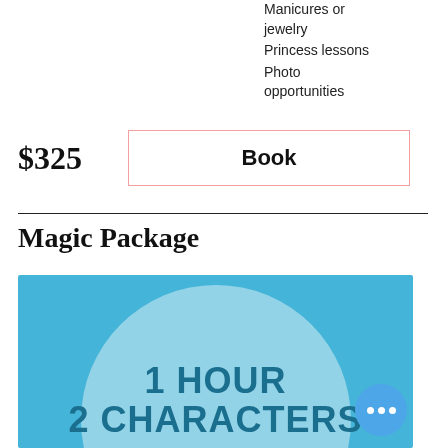Manicures or jewelry
Princess lessons
Photo opportunities
$325
Book
Magic Package
[Figure (infographic): Blue background with a large light blue circle in the center. Bold teal text reads '1 HOUR' on the first line and '2 CHARACTERS' on the second line.]